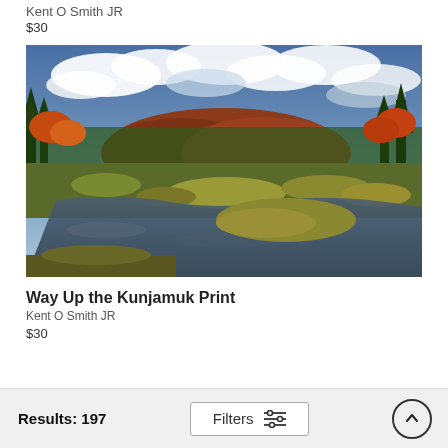Kent O Smith JR
$30
[Figure (photo): Autumn landscape photograph showing a wetland/marsh with a calm reflective river, autumn foliage in red, orange and gold on trees and hillside, evergreen trees on sides, dramatic cloudy blue sky above.]
Way Up the Kunjamuk Print
Kent O Smith JR
$30
Results: 197   Filters   ↑